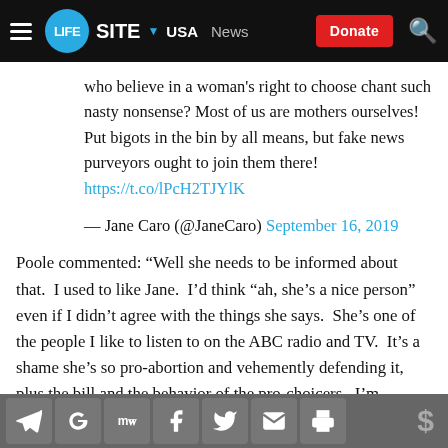LifeSite — USA | News | Donate
who believe in a woman's right to choose chant such nasty nonsense? Most of us are mothers ourselves! Put bigots in the bin by all means, but fake news purveyors ought to join them there! https://t.co/lPcH2TJYlK
— Jane Caro (@JaneCaro) September 16, 2019
Poole commented: “Well she needs to be informed about that.  I used to like Jane.  I’d think “ah, she’s a nice person” even if I didn’t agree with the things she says.  She’s one of the people I like to listen to on the ABC radio and TV.  It’s a shame she’s so pro-abortion and vehemently defending it, plus the bill and the behavior of the pro-choicers.  I’m disappointed she’s
Social share buttons: Telegram, Google, MeWe, Facebook, Twitter, Email, Print | Donate